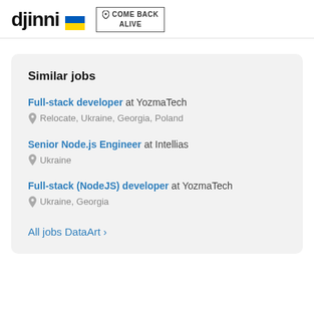djinni 🇺🇦  COME BACK ALIVE
Similar jobs
Full-stack developer at YozmaTech — Relocate, Ukraine, Georgia, Poland
Senior Node.js Engineer at Intellias — Ukraine
Full-stack (NodeJS) developer at YozmaTech — Ukraine, Georgia
All jobs DataArt >